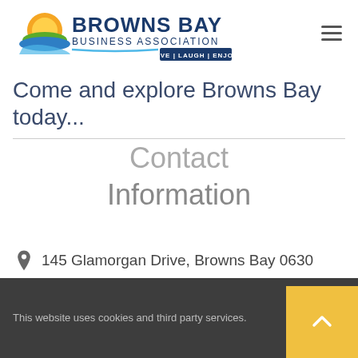[Figure (logo): Browns Bay Business Association logo with sun and wave graphic, text 'BROWNS BAY BUSINESS ASSOCIATION' and tagline 'LIVE | LAUGH | ENJOY']
Come and explore Browns Bay today...
Contact Information
145 Glamorgan Drive, Browns Bay 0630
This website uses cookies and third party services.